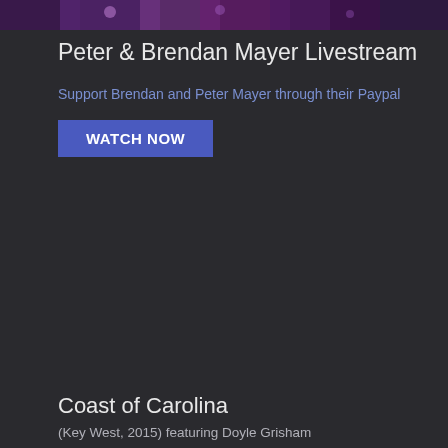[Figure (photo): Dark header image with colorful concert/event lighting, purple and pink hues, appears to be a cropped banner at top of page]
Peter & Brendan Mayer Livestream
Support Brendan and Peter Mayer through their Paypal
WATCH NOW
Coast of Carolina
(Key West, 2015) featuring Doyle Grisham